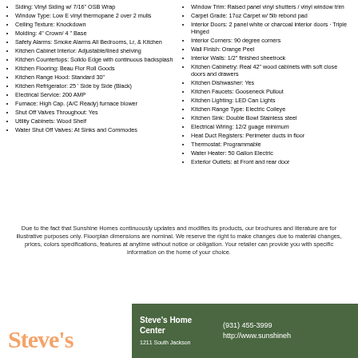Siding: Vinyl Siding w/ 7/16" OSB Wrap
Window Type: Low E vinyl thermopane 2 over 2 mulls
Ceiling Texture: Knockdown
Molding: 4" Crown/ 4 " Base
Safety Alarms: Smoke Alarms All Bedrooms, Lr, & Kitchen
Kitchen Cabinet Interior: Adjustable/lined shelving
Kitchen Countertops: Solido Edge with continuous backsplash
Kitchen Flooring: Beau Flor Roll Goods
Kitchen Range Hood: Standard 30"
Kitchen Refrigerator: 25 ' Side by Side (Black)
Electrical Service: 200 AMP
Furnace: High Cap. (A/C Ready) furnace blower
Shut Off Valves Throughout: Yes
Utility Cabinets: Wood Shelf
Water Shut Off Valves: At Sinks and Commodes
Window Trim: Raised panel vinyl shutters / vinyl window trim
Carpet Grade: 17oz Carpet w/ 5lb rebond pad
Interior Doors: 2 panel white or charcoal interior doors - Triple Hinged
Interior Corners: 90 degree corners
Wall Finish: Orange Peel
Interior Walls: 1/2" finished sheetrock
Kitchen Cabinetry: Real 42" wood cabinets with soft close doors and drawers
Kitchen Dishwasher: Yes
Kitchen Faucets: Gooseneck Pullout
Kitchen Lighting: LED Can Lights
Kitchen Range Type: Electric Coileye
Kitchen Sink: Double Bowl Stainless steel
Electrical Wiring: 12/2 guage minimum
Heat Duct Registers: Perimeter ducts in floor
Thermostat: Programmable
Water Heater: 50 Gallon Electric
Exterior Outlets: at Front and rear door
Due to the fact that Sunshine Homes continuously updates and modifies its products, our brochures and literature are for illustrative purposes only. Floorplan dimensions are nominal. We reserve the right to make changes due to material changes, prices, colors specifications, features at anytime without notice or obligation. Your retailer can provide you with specific information on the home of your choice.
Steve's
Steve's Home Center
(931) 455-3999
1211 South Jackson
http://www.sunshineh